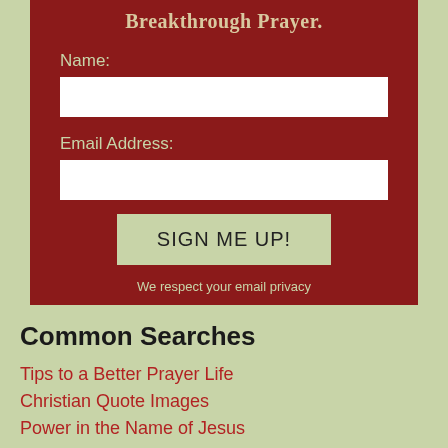Breakthrough Prayer.
Name:
Email Address:
SIGN ME UP!
We respect your email privacy
Email Marketing by AWeber
Common Searches
Tips to a Better Prayer Life
Christian Quote Images
Power in the Name of Jesus
See God Everywhere...